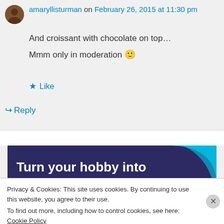amaryllisturman on February 26, 2015 at 11:30 pm
And croissant with chocolate on top…
Mmm only in moderation 🙂
★ Like
↪ Reply
[Figure (infographic): Ad banner with dark purple background and teal decorative shape. Text reads: Turn your hobby into a business in 8 steps]
Privacy & Cookies: This site uses cookies. By continuing to use this website, you agree to their use.
To find out more, including how to control cookies, see here: Cookie Policy
Close and accept